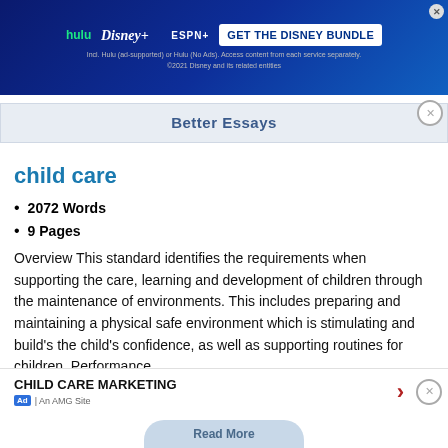[Figure (screenshot): Disney Bundle advertisement banner with hulu, Disney+, ESPN+ logos and 'GET THE DISNEY BUNDLE' call to action button]
Better Essays
child care
2072 Words
9 Pages
Overview This standard identifies the requirements when supporting the care, learning and development of children through the maintenance of environments. This includes preparing and maintaining a physical safe environment which is stimulating and build's the child's confidence, as well as supporting routines for children. Performance criteria You must be able to: You must be able to: You must be...
[Figure (screenshot): CHILD CARE MARKETING advertisement with arrow button, Ad label, and An AMG Site text]
Read More